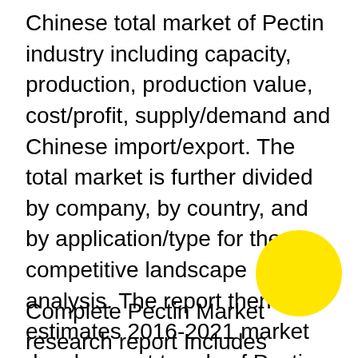Chinese total market of Pectin industry including capacity, production, production value, cost/profit, supply/demand and Chinese import/export. The total market is further divided by company, by country, and by application/type for the competitive landscape analysis. The report then estimates 2016-2021 market development trends of Pectin industry. Analysis of upstream raw materials, downstream demand, and current market dynamics is also carried out. In the end, the report makes some important proposals for a new project of Pectin Industry before evaluating its feasibility. Overall, the report provides an in-depth insight of 2011-2021 global and Chinese Pectin industry covering all important parameters.
Complete Pectin Market research report Includes